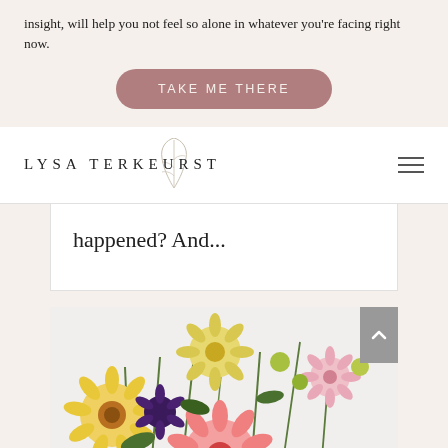insight, will help you not feel so alone in whatever you're facing right now.
TAKE ME THERE
[Figure (logo): Lysa TerKeurst logo with botanical leaf illustration above the text]
happened? And...
[Figure (photo): Colorful flower arrangement including gerbera daisies in yellow, pink, and purple, with green stems and foliage, placed near a dark object]